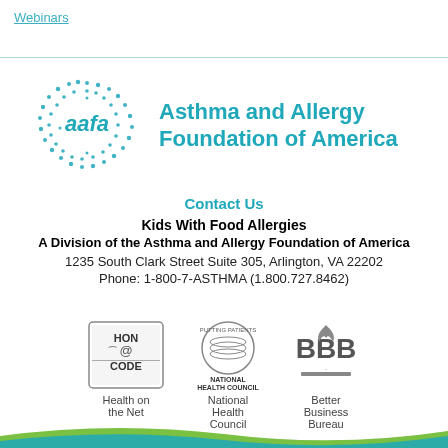Webinars
[Figure (logo): AAFA logo: teal dotted circle with 'aafa' text and 'Asthma and Allergy Foundation of America' wordmark]
Contact Us
Kids With Food Allergies
A Division of the Asthma and Allergy Foundation of America
1235 South Clark Street Suite 305, Arlington, VA 22202
Phone: 1-800-7-ASTHMA (1.800.727.8462)
[Figure (logo): HON CODE badge - Health on the Net]
Health on the Net
[Figure (logo): National Health Council badge]
National Health Council
[Figure (logo): Better Business Bureau badge]
Better Business Bureau